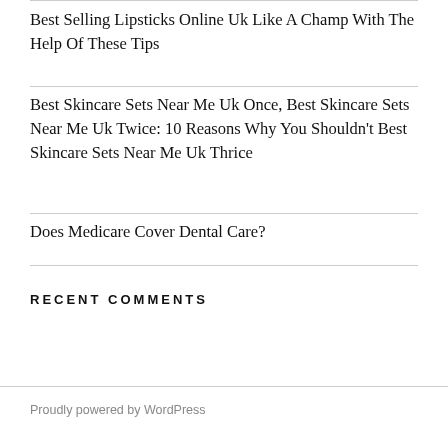Best Selling Lipsticks Online Uk Like A Champ With The Help Of These Tips
Best Skincare Sets Near Me Uk Once, Best Skincare Sets Near Me Uk Twice: 10 Reasons Why You Shouldn't Best Skincare Sets Near Me Uk Thrice
Does Medicare Cover Dental Care?
RECENT COMMENTS
Proudly powered by WordPress